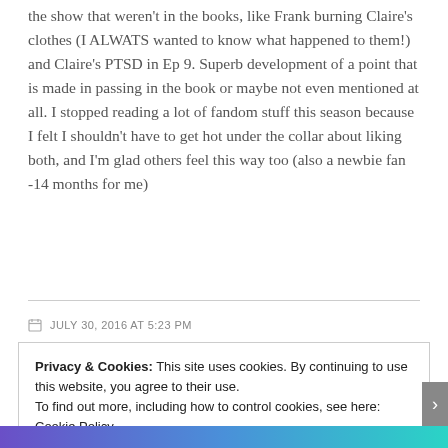the show that weren't in the books, like Frank burning Claire's clothes (I ALWATS wanted to know what happened to them!) and Claire's PTSD in Ep 9. Superb development of a point that is made in passing in the book or maybe not even mentioned at all. I stopped reading a lot of fandom stuff this season because I felt I shouldn't have to get hot under the collar about liking both, and I'm glad others feel this way too (also a newbie fan -14 months for me)
JULY 30, 2016 AT 5:23 PM
Privacy & Cookies: This site uses cookies. By continuing to use this website, you agree to their use. To find out more, including how to control cookies, see here: Cookie Policy
Close and accept